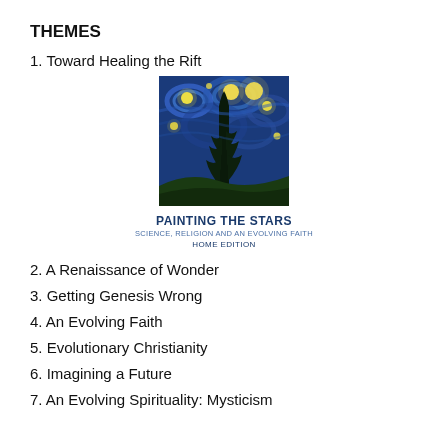THEMES
1. Toward Healing the Rift
[Figure (illustration): Book cover image showing Van Gogh's Starry Night style painting with deep blue swirling sky and dark cypress tree, with text 'PAINTING THE STARS / SCIENCE, RELIGION AND AN EVOLVING FAITH / HOME EDITION']
2. A Renaissance of Wonder
3. Getting Genesis Wrong
4. An Evolving Faith
5. Evolutionary Christianity
6. Imagining a Future
7. An Evolving Spirituality: Mysticism